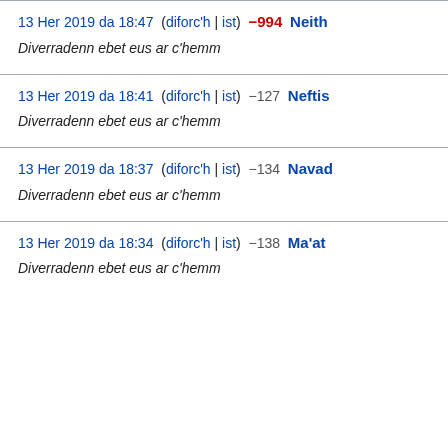13 Her 2019 da 18:47  (diforc'h | ist)  −994  Neith
Diverradenn ebet eus ar c'hemm
13 Her 2019 da 18:41  (diforc'h | ist)  −127  Neftis
Diverradenn ebet eus ar c'hemm
13 Her 2019 da 18:37  (diforc'h | ist)  −134  Navad
Diverradenn ebet eus ar c'hemm
13 Her 2019 da 18:34  (diforc'h | ist)  −138  Ma'at
Diverradenn ebet eus ar c'hemm